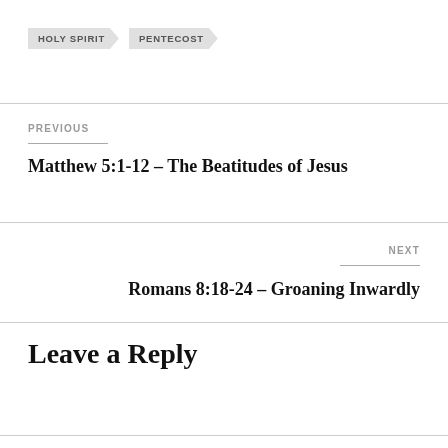HOLY SPIRIT   PENTECOST
PREVIOUS
Matthew 5:1-12 – The Beatitudes of Jesus
NEXT
Romans 8:18-24 – Groaning Inwardly
Leave a Reply